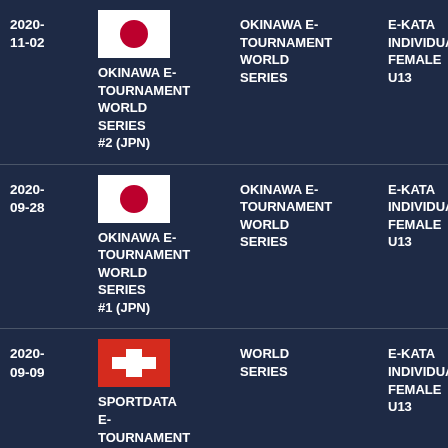| Date | Tournament | Series | Event |
| --- | --- | --- | --- |
| 2020-11-02 | OKINAWA E-TOURNAMENT WORLD SERIES #2 (JPN) | OKINAWA E-TOURNAMENT WORLD SERIES | E-KATA INDIVIDUAL FEMALE U13 |
| 2020-09-28 | OKINAWA E-TOURNAMENT WORLD SERIES #1 (JPN) | OKINAWA E-TOURNAMENT WORLD SERIES | E-KATA INDIVIDUAL FEMALE U13 |
| 2020-09-09 | SPORTDATA E-TOURNAMENT WORLD ... | WORLD SERIES | E-KATA INDIVIDUAL FEMALE U13 |